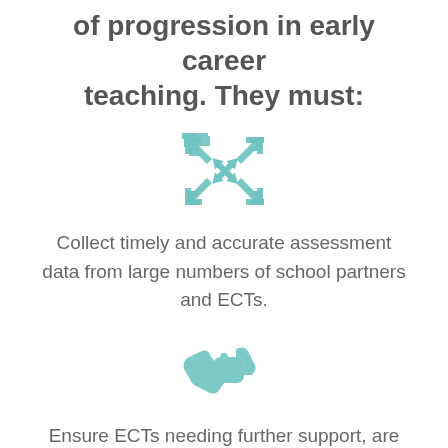of progression in early career teaching. They must:
[Figure (illustration): Teal/turquoise compress/converge arrows icon — four arrows pointing inward toward center]
Collect timely and accurate assessment data from large numbers of school partners and ECTs.
[Figure (illustration): Teal/turquoise handshake or hands connecting icon]
Ensure ECTs needing further support, are